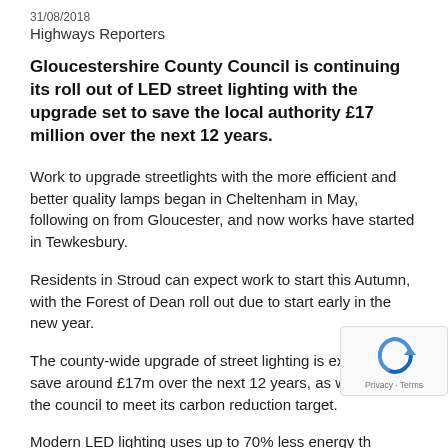31/08/2018
Highways Reporters
Gloucestershire County Council is continuing its roll out of LED street lighting with the upgrade set to save the local authority £17 million over the next 12 years.
Work to upgrade streetlights with the more efficient and better quality lamps began in Cheltenham in May, following on from Gloucester, and now works have started in Tewkesbury.
Residents in Stroud can expect work to start this Autumn, with the Forest of Dean roll out due to start early in the new year.
The county-wide upgrade of street lighting is expected to save around £17m over the next 12 years, as well as help the council to meet its carbon reduction target.
Modern LED lighting uses up to 70% less energy than conventional sodium lights, offering a much longer life and reducing maintenance costs.